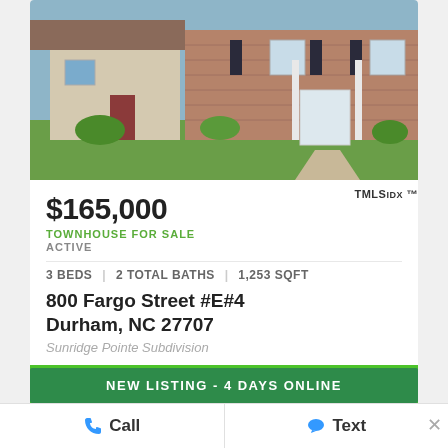[Figure (photo): Exterior photo of a brick and siding townhouse with green lawn and walkway]
$165,000
TOWNHOUSE FOR SALE
ACTIVE
3 BEDS | 2 TOTAL BATHS | 1,253 SQFT
800 Fargo Street #E#4
Durham, NC 27707
Sunridge Pointe Subdivision
NEW LISTING - 4 DAYS ONLINE
Call
Text